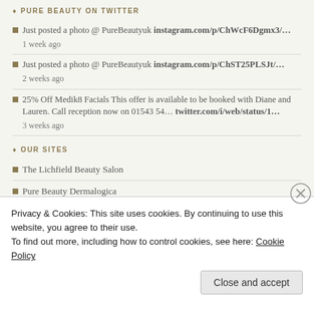♦ PURE BEAUTY ON TWITTER
Just posted a photo @ PureBeautyuk instagram.com/p/ChWcF6Dgmx3/… 1 week ago
Just posted a photo @ PureBeautyuk instagram.com/p/ChST25PLSJt/… 2 weeks ago
25% Off Medik8 Facials This offer is available to be booked with Diane and Lauren. Call reception now on 01543 54… twitter.com/i/web/status/1… 3 weeks ago
♦ OUR SITES
The Lichfield Beauty Salon
Pure Beauty Dermalogica
Pure Beauty Decleor
Privacy & Cookies: This site uses cookies. By continuing to use this website, you agree to their use.
To find out more, including how to control cookies, see here: Cookie Policy
Close and accept